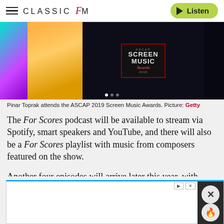CLASSIC FM — Listen
[Figure (photo): Pinar Toprak at the ASCAP 2019 Screen Music Awards event, with colorful stage lighting and an award sign in the center reading 'SCREEN MUSIC Awards 2019']
Pinar Toprak attends the ASCAP 2019 Screen Music Awards. Picture: Getty
The For Scores podcast will be available to stream via Spotify, smart speakers and YouTube, and there will also be a For Scores playlist with music from composers featured on the show.
Another four episodes will arrive later this year, with more to follow in 2010.
[Figure (screenshot): Advertisement banner with blue top border, close button (X) and fire/drop icon controls on the right side]